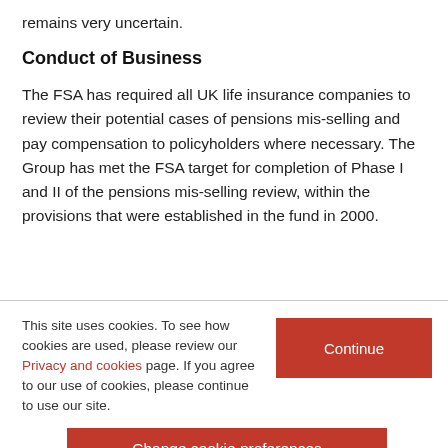remains very uncertain.
Conduct of Business
The FSA has required all UK life insurance companies to review their potential cases of pensions mis-selling and pay compensation to policyholders where necessary. The Group has met the FSA target for completion of Phase I and II of the pensions mis-selling review, within the provisions that were established in the fund in 2000.
This site uses cookies. To see how cookies are used, please review our Privacy and cookies page. If you agree to our use of cookies, please continue to use our site.
Continue
Change cookie preferences